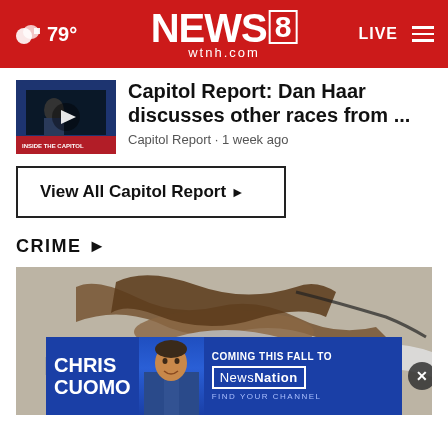79° NEWS 8 wtnh.com LIVE
[Figure (screenshot): Video thumbnail showing Capitol Report segment with TV anchor]
Capitol Report: Dan Haar discusses other races from ...
Capitol Report · 1 week ago
View All Capitol Report ▶
CRIME ▶
[Figure (photo): Photo of catalytic converters and exhaust pipes piled together]
[Figure (screenshot): Advertisement: Chris Cuomo coming this fall to NewsNation - Find Your Channel]